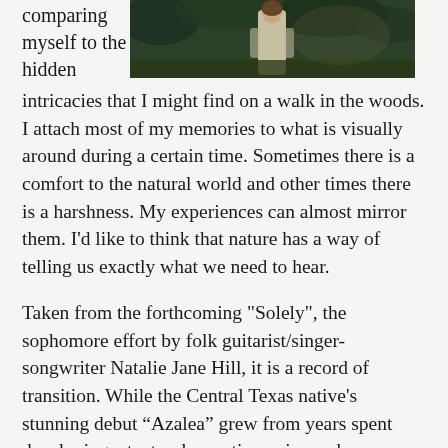[Figure (photo): A photo of a person (likely Natalie Jane Hill) standing outdoors in a natural wooded setting, wearing a light-colored dress, with green foliage in the background.]
comparing myself to the hidden intricacies that I might find on a walk in the woods. I attach most of my memories to what is visually around during a certain time. Sometimes there is a comfort to the natural world and other times there is a harshness. My experiences can almost mirror them. I'd like to think that nature has a way of telling us exactly what we need to hear.
Taken from the forthcoming "Solely", the sophomore effort by folk guitarist/singer-songwriter Natalie Jane Hill, it is a record of transition. While the Central Texas native's stunning debut “Azalea” grew from years spent developing a textural narrative voice and idiosyncratic guitar style in the vibrant Blue Ridge Mountains, “Solely” represents a period of inward growth, and an outward push into an expanded sonic palette.
Following a move back to the Austin area in the fall of 2019, just